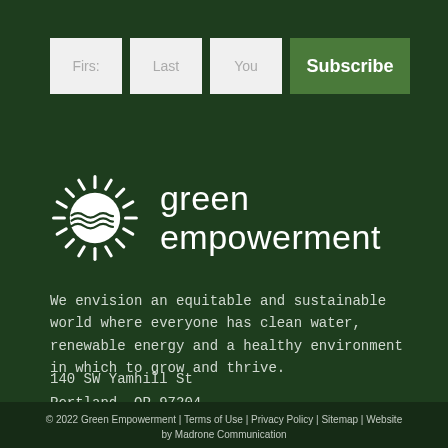[Figure (infographic): Subscription form with three input fields labeled First, Last, You and a Subscribe button on dark green background]
[Figure (logo): Green Empowerment logo: white sun/gear circular icon followed by text 'green empowerment' in white sans-serif font on dark green background]
We envision an equitable and sustainable world where everyone has clean water, renewable energy and a healthy environment in which to grow and thrive.
140 SW Yamhill St
Portland, OR 97204
© 2022 Green Empowerment | Terms of Use | Privacy Policy | Sitemap | Website by Madrone Communication